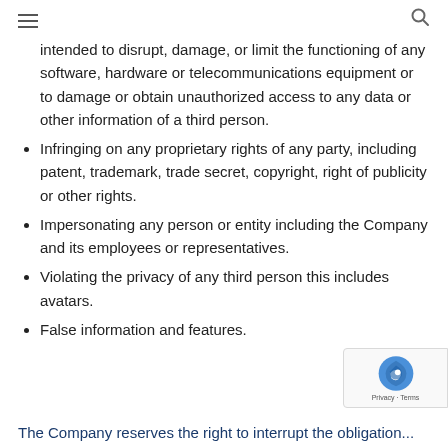≡  🔍
intended to disrupt, damage, or limit the functioning of any software, hardware or telecommunications equipment or to damage or obtain unauthorized access to any data or other information of a third person.
Infringing on any proprietary rights of any party, including patent, trademark, trade secret, copyright, right of publicity or other rights.
Impersonating any person or entity including the Company and its employees or representatives.
Violating the privacy of any third person this includes avatars.
False information and features.
The Company reserves the right to interrupt the obligation...